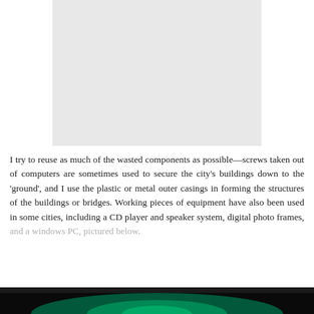[Figure (photo): A light gray rectangular image placeholder at the top of the page]
I try to reuse as much of the wasted components as possible—screws taken out of computers are sometimes used to secure the city's buildings down to the 'ground', and I use the plastic or metal outer casings in forming the structures of the buildings or bridges. Working pieces of equipment have also been used in some cities, including a CD player and speaker system, digital photo frames, and a windows PC, pictured below.
[Figure (photo): A dark photograph visible at the bottom of the page with green/teal lighting, partially cut off]